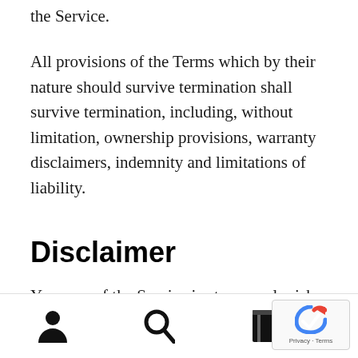the Service.
All provisions of the Terms which by their nature should survive termination shall survive termination, including, without limitation, ownership provisions, warranty disclaimers, indemnity and limitations of liability.
Disclaimer
Your use of the Service is at your sole risk. The Service is provided on an “AS IS” and “AS
navigation icons: person, search, bookmark